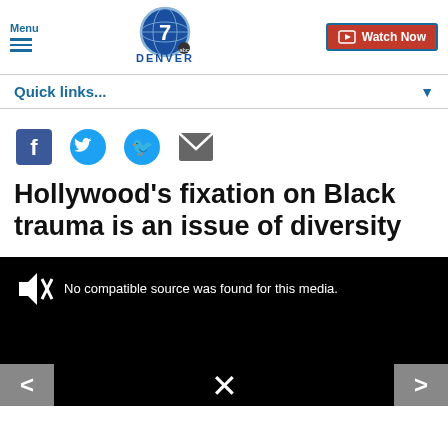[Figure (logo): Denver 7 ABC News logo - globe with number 7 and DENVER abc text below]
Menu | Denver 7 ABC | Watch Now
Quick links...
[Figure (infographic): Social share icons: Facebook, Twitter, Email]
Hollywood's fixation on Black trauma is an issue of diversity
[Figure (screenshot): Video player showing black screen with muted icon and text: No compatible source was found for this media. Navigation arrows on left and right, X close icon at bottom center.]